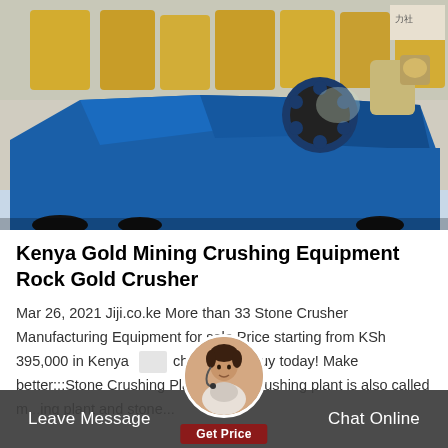[Figure (photo): Industrial blue and beige mining/crushing machine equipment photographed outdoors at a factory or yard, with large yellow lettering visible in background]
Kenya Gold Mining Crushing Equipment Rock Gold Crusher
Mar 26, 2021 Jiji.co.ke More than 33 Stone Crusher Manufacturing Equipment for sale Price starting from KSh 395,000 in Kenya choose and buy today! Make better:::Stone Crushing Plant. Stone crushing plant is also called m...ing plant and stone...
Leave Message  Chat Online  Get Price